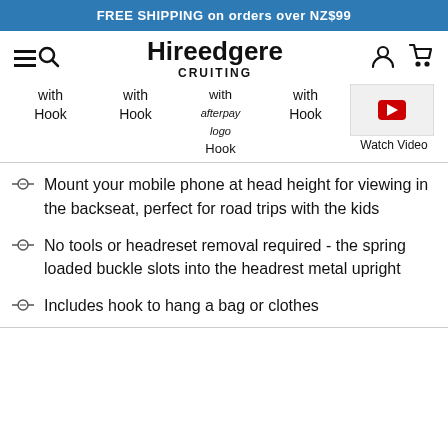FREE SHIPPING on orders over NZ$99
[Figure (logo): Hireedgere CRUITING logo with hamburger menu, search, user, and cart icons in navigation bar]
| with Hook | with Hook | with Hook afterpay logo | with Hook |
| --- | --- | --- | --- |
Watch Video
Mount your mobile phone at head height for viewing in the backseat, perfect for road trips with the kids
No tools or headreset removal required - the spring loaded buckle slots into the headrest metal upright
Includes hook to hang a bag or clothes